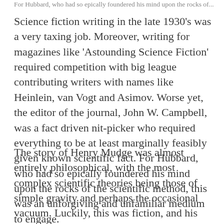For Hubbard, who had so epically foundered his mind upon the rocks of...
Science fiction writing in the late 1930's was a very taxing job. Moreover, writing for magazines like 'Astounding Science Fiction' required competition with big league contributing writers with names like Heinlein, van Vogt and Asimov. Worse yet, the editor of the journal, John W. Campbell, was a fact driven nit-picker who required everything to be at least marginally feasibly given known scientific fact. For Hubbard, who had so epically foundered his mind upon the rocks of the scientific method, this was an unforgiving and unfamiliar medium to engage.
The story of Henry Mudge was almost entirely philosophical, with the most complex scientific theories being those of simple gravity and perhaps the occasional vacuum. Luckily, this was fiction, and his stories of psychic travel were only loosely related to scientific theories and machines, before fully...